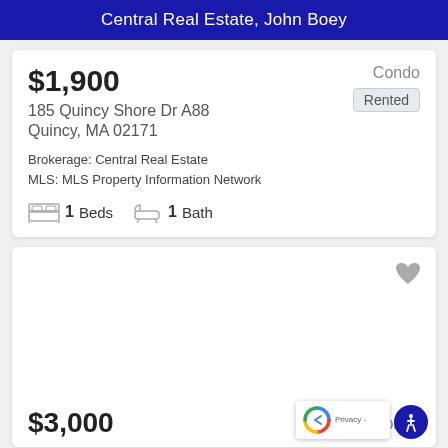Central Real Estate, John Boey
$1,900
Condo
Rented
185 Quincy Shore Dr A88
Quincy, MA 02171
Brokerage: Central Real Estate
MLS: MLS Property Information Network
1 Beds  1 Bath
[Figure (other): Second listing card with heart/favorite icon, partially visible]
$3,000
Condo